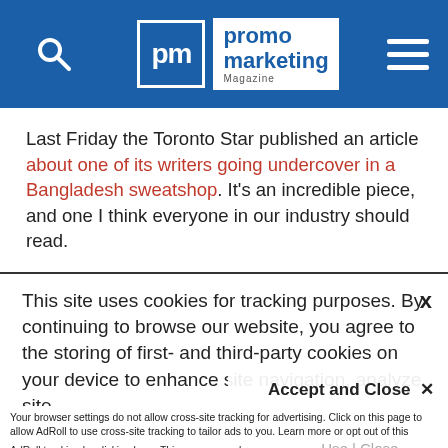promo marketing Magazine
Last Friday the Toronto Star published an article about one of its writers going undercover in a Bangladesh sweatshop. It's an incredible piece, and one I think everyone in our industry should read.
On my own read-through, I was expecting a straight-condemnation of sweatshops, but the
This site uses cookies for tracking purposes. By continuing to browse our website, you agree to the storing of first- and third-party cookies on your device to enhance site navigation, analyze site
usage, and assist in our marketing and
Accept and Close ✕
Your browser settings do not allow cross-site tracking for advertising. Click on this page to allow AdRoll to use cross-site tracking to tailor ads to you. Learn more or opt out of this AdRoll tracking by clicking here. This message only appears once.